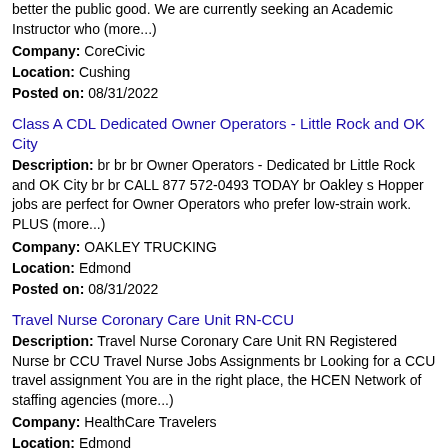better the public good. We are currently seeking an Academic Instructor who (more...)
Company: CoreCivic
Location: Cushing
Posted on: 08/31/2022
Class A CDL Dedicated Owner Operators - Little Rock and OK City
Description: br br br Owner Operators - Dedicated br Little Rock and OK City br br CALL 877 572-0493 TODAY br Oakley s Hopper jobs are perfect for Owner Operators who prefer low-strain work. PLUS (more...)
Company: OAKLEY TRUCKING
Location: Edmond
Posted on: 08/31/2022
Travel Nurse Coronary Care Unit RN-CCU
Description: Travel Nurse Coronary Care Unit RN Registered Nurse br CCU Travel Nurse Jobs Assignments br Looking for a CCU travel assignment You are in the right place, the HCEN Network of staffing agencies (more...)
Company: HealthCare Travelers
Location: Edmond
Posted on: 08/31/2022